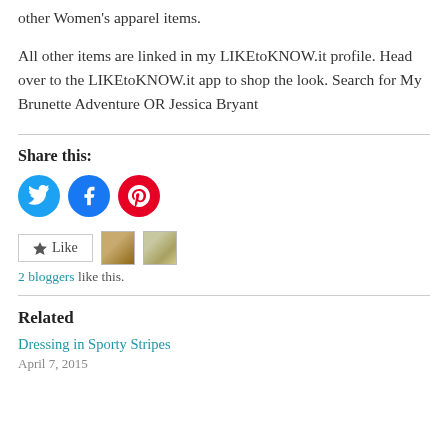other Women's apparel items.
All other items are linked in my LIKEtoKNOW.it profile. Head over to the LIKEtoKNOW.it app to shop the look. Search for My Brunette Adventure OR Jessica Bryant
Share this:
[Figure (other): Social sharing icons: Twitter (blue circle), Facebook (blue circle), Pinterest (red circle)]
[Figure (other): Like button with star icon, followed by two blogger avatar thumbnails]
2 bloggers like this.
Related
Dressing in Sporty Stripes
April 7, 2015